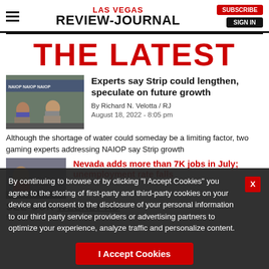LAS VEGAS REVIEW-JOURNAL | SUBSCRIBE | SIGN IN
THE LATEST
[Figure (photo): Two people seated on stage at NAIOP event, with NAIOP branding visible in background]
Experts say Strip could lengthen, speculate on future growth
By Richard N. Velotta / RJ
August 18, 2022 - 8:05 pm
Although the shortage of water could someday be a limiting factor, two gaming experts addressing NAIOP say Strip growth
By continuing to browse or by clicking “I Accept Cookies” you agree to the storing of first-party and third-party cookies on your device and consent to the disclosure of your personal information to our third party service providers or advertising partners to optimize your experience, analyze traffic and personalize content.
Nevada adds more than 7K jobs in July; unemployment rate falls
SEE OUR WEEKLY AD for Great Deals